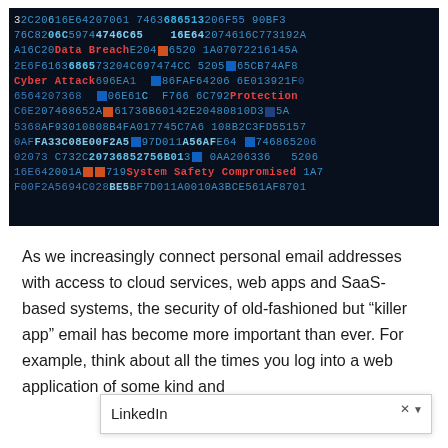[Figure (photo): Dark background cybersecurity image showing hex code / binary data in blue text with red highlighted words 'Data Breach', 'Cyber Attack', 'Protection', and 'System Safety Compromised' overlaid on a dark blue/black matrix-style background.]
As we increasingly connect personal email addresses with access to cloud services, web apps and SaaS-based systems, the security of old-fashioned but “killer app” email has become more important than ever. For example, think about all the times you log into a web application of some kind and LinkedIn